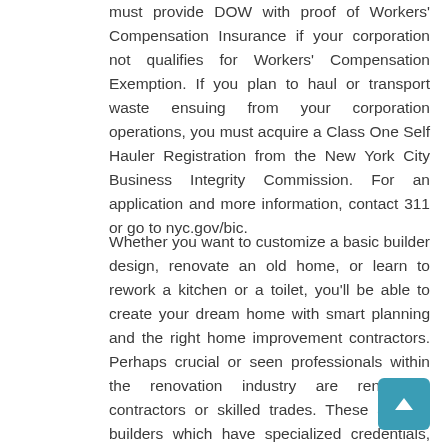must provide DOW with proof of Workers' Compensation Insurance if your corporation not qualifies for Workers' Compensation Exemption. If you plan to haul or transport waste ensuing from your corporation operations, you must acquire a Class One Self Hauler Registration from the New York City Business Integrity Commission. For an application and more information, contact 311 or go to nyc.gov/bic.
Whether you want to customize a basic builder design, renovate an old home, or learn to rework a kitchen or a toilet, you'll be able to create your dream home with smart planning and the right home improvement contractors. Perhaps crucial or seen professionals within the renovation industry are renovation contractors or skilled trades. These are the builders which have specialized credentials, licensing and experience to carry out renovation providers in particular municipalities.